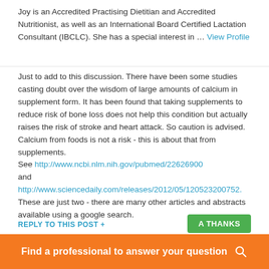Joy is an Accredited Practising Dietitian and Accredited Nutritionist, as well as an International Board Certified Lactation Consultant (IBCLC). She has a special interest in … View Profile
Just to add to this discussion. There have been some studies casting doubt over the wisdom of large amounts of calcium in supplement form. It has been found that taking supplements to reduce risk of bone loss does not help this condition but actually raises the risk of stroke and heart attack. So caution is advised. Calcium from foods is not a risk - this is about that from supplements.
See http://www.ncbi.nlm.nih.gov/pubmed/22626900
and http://www.sciencedaily.com/releases/2012/05/120523200752.
These are just two - there are many other articles and abstracts available using a google search.
REPLY TO THIS POST +
Find a professional to answer your question